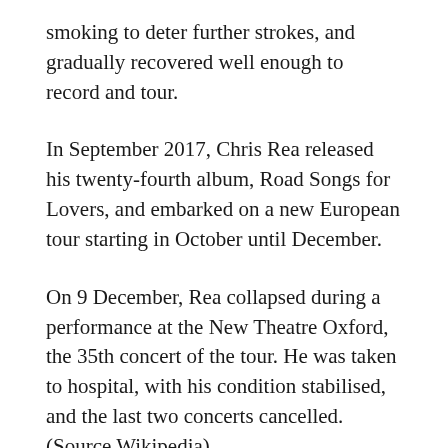smoking to deter further strokes, and gradually recovered well enough to record and tour.
In September 2017, Chris Rea released his twenty-fourth album, Road Songs for Lovers, and embarked on a new European tour starting in October until December.
On 9 December, Rea collapsed during a performance at the New Theatre Oxford, the 35th concert of the tour. He was taken to hospital, with his condition stabilised, and the last two concerts cancelled. (Source Wikipedia)
https://en.wikipedia.org/wiki/Chris_Rea